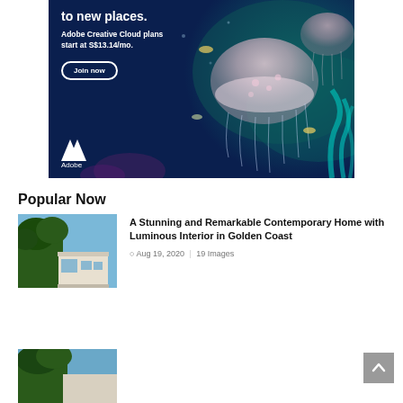[Figure (photo): Adobe Creative Cloud advertisement with jellyfish underwater scene on dark blue background. Text reads 'to new places. Adobe Creative Cloud plans start at S$13.14/mo.' with a 'Join now' button and Adobe logo.]
Popular Now
[Figure (photo): Thumbnail of a contemporary home exterior with trees and blue sky - article about A Stunning and Remarkable Contemporary Home with Luminous Interior in Golden Coast]
A Stunning and Remarkable Contemporary Home with Luminous Interior in Golden Coast
Aug 19, 2020 | 19 Images
[Figure (photo): Thumbnail of another contemporary home article]